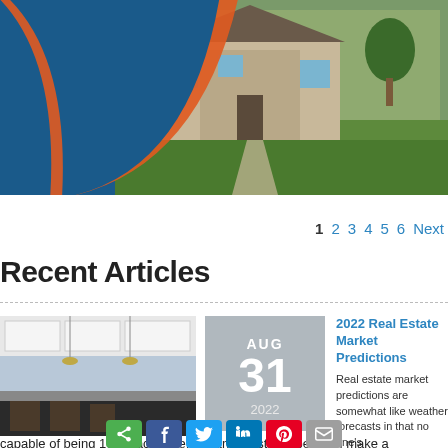[Figure (photo): Hero banner: house exterior photo with green lawn and landscaping, overlaid with dark blue block on left and orange arc graphic element]
1 2 3 4 5 6 Next
Recent Articles
[Figure (photo): Kitchen interior photo showing white cabinets, bar stools and pendant lighting]
AUG 31 2022
2022 Real Estate Market Predictions
Real estate market predictions are somewhat like weather forecasts in that no one's capable of being 100% accurate, but an industry expert can make a reasonably close prediction. With that in mind, here is the general consensus about what to expect in the housing market for the...